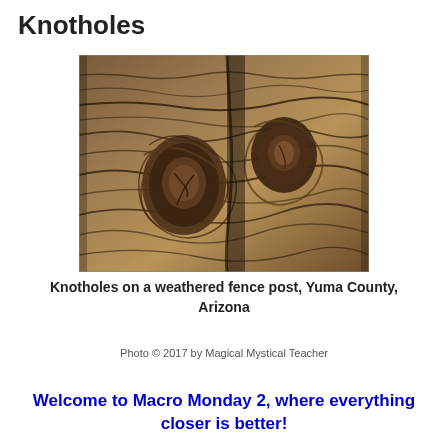Knotholes
[Figure (photo): Close-up macro photograph of two knotholes on a weathered wooden fence post, showing swirling wood grain patterns in brown and grey tones, Yuma County, Arizona]
Knotholes on a weathered fence post, Yuma County, Arizona
Photo © 2017 by Magical Mystical Teacher
Welcome to Macro Monday 2, where everything closer is better!